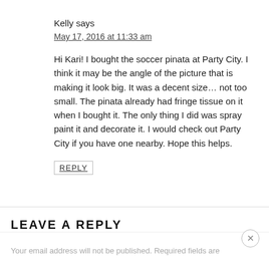Kelly says
May 17, 2016 at 11:33 am
Hi Kari! I bought the soccer pinata at Party City. I think it may be the angle of the picture that is making it look big. It was a decent size… not too small. The pinata already had fringe tissue on it when I bought it. The only thing I did was spray paint it and decorate it. I would check out Party City if you have one nearby. Hope this helps.
REPLY
LEAVE A REPLY
Your email address will not be published. Required fields are